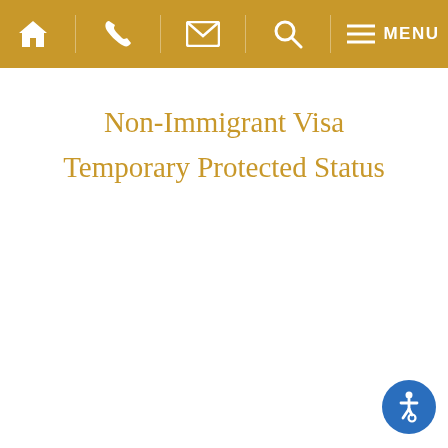Navigation bar with home, phone, email, search, and menu icons
Non-Immigrant Visa
Temporary Protected Status
[Figure (illustration): Accessibility icon button — blue circle with white wheelchair symbol in bottom-right corner]